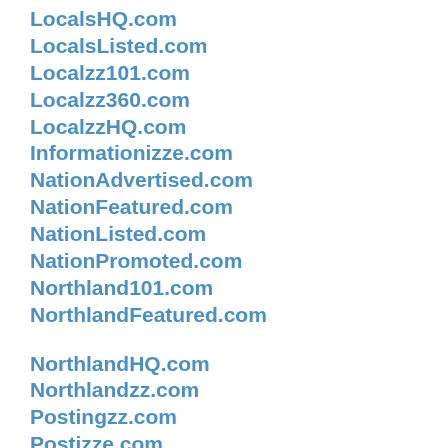LocalsHQ.com
LocalsListed.com
Localzz101.com
Localzz360.com
LocalzzHQ.com
Informationizze.com
NationAdvertised.com
NationFeatured.com
NationListed.com
NationPromoted.com
Northland101.com
NorthlandFeatured.com
NorthlandHQ.com
Northlandzz.com
Postingzz.com
Postizze.com
Professionalzz.com